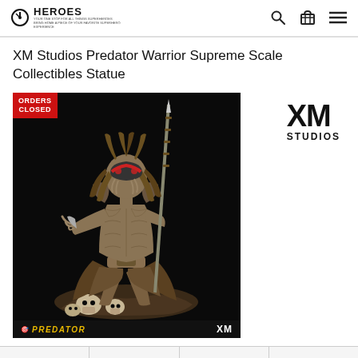HEROES
XM Studios Predator Warrior Supreme Scale Collectibles Statue
[Figure (photo): Product photo of XM Studios Predator Warrior Supreme Scale Collectibles Statue. The statue shows a Predator warrior figure holding a spear aloft, standing on a base with skulls, set against a black background. A red 'ORDERS CLOSED' banner is in the top left corner. The bottom bar shows the PREDATOR logo text in gold/yellow and 'XM' in white on the right.]
[Figure (logo): XM Studios logo showing 'XM' in large bold black letters and 'STUDIOS' below in bold black letters with wide letter-spacing.]